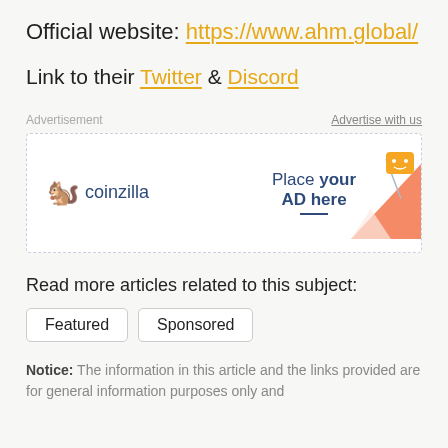Official website: https://www.ahm.global/
Link to their Twitter & Discord
[Figure (other): Coinzilla advertisement banner with 'Place your AD here' text and an orange triangle graphic with a cartoon character]
Read more articles related to this subject:
Featured
Sponsored
Notice: The information in this article and the links provided are for general information purposes only and